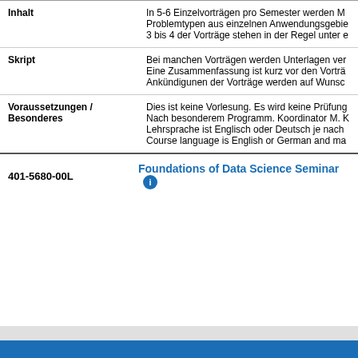| Label | Content |
| --- | --- |
| Inhalt | In 5-6 Einzelvorträgen pro Semester werden M... Problemtypen aus einzelnen Anwendungsgebie... 3 bis 4 der Vorträge stehen in der Regel unter e... |
| Skript | Bei manchen Vorträgen werden Unterlagen ver... Eine Zusammenfassung ist kurz vor den Vorträ... Ankündigunen der Vorträge werden auf Wunsc... |
| Voraussetzungen / Besonderes | Dies ist keine Vorlesung. Es wird keine Prüfung... Nach besonderem Programm. Koordinator M. K... Lehrsprache ist Englisch oder Deutsch je nach... Course language is English or German and ma... |
401-5680-00L   Foundations of Data Science Seminar
| Label | Content |
| --- | --- |
| Kurzbeschreibung | Research colloquium |
| Lernziel |  |